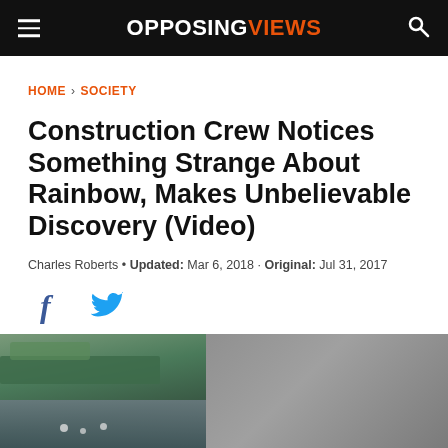OPPOSING VIEWS
HOME > SOCIETY
Construction Crew Notices Something Strange About Rainbow, Makes Unbelievable Discovery (Video)
Charles Roberts • Updated: Mar 6, 2018 · Original: Jul 31, 2017
[Figure (screenshot): Social media share icons: Facebook (f) and Twitter (bird icon) in blue]
[Figure (photo): Aerial or video still image showing a waterway, dock/pier area with greenery on the left side and grey/overcast sky or water on the right side]